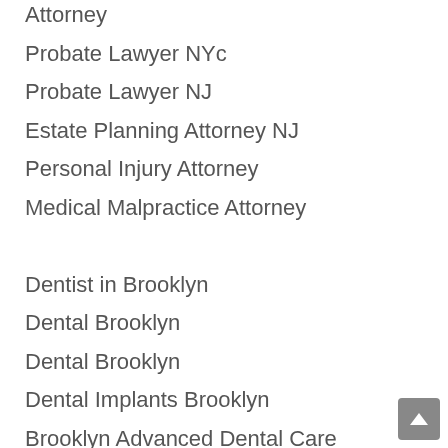Attorney
Probate Lawyer NYc
Probate Lawyer NJ
Estate Planning Attorney NJ
Personal Injury Attorney
Medical Malpractice Attorney
Dentist in Brooklyn
Dental Brooklyn
Dental Brooklyn
Dental Implants Brooklyn
Brooklyn Advanced Dental Care
Dentist Near Me Bronx
Dentist Near Me Brooklyn
Dentist Near Me Long Island
Dentist Near Me New York
Dentist Near Me Queens
Dentist Near Me Staten Island